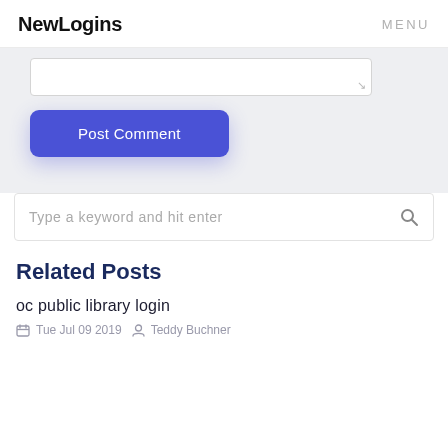NewLogins   MENU
[Figure (screenshot): Partial textarea/comment input box with resize handle in bottom-right corner, on light gray background]
Post Comment
[Figure (screenshot): Search bar with placeholder text 'Type a keyword and hit enter' and magnifying glass icon on right]
Related Posts
oc public library login
Tue Jul 09 2019   Teddy Buchner